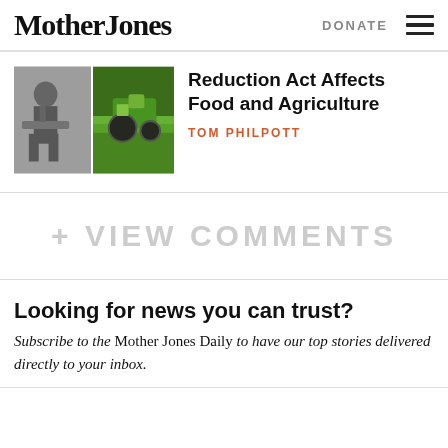Mother Jones | DONATE
[Figure (photo): Two-panel image: left panel shows a black and white photo of a man at a podium; right panel shows a green tractor in a field]
Reduction Act Affects Food and Agriculture
TOM PHILPOTT
+ VIEW COMMENTS
Looking for news you can trust?
Subscribe to the Mother Jones Daily to have our top stories delivered directly to your inbox.